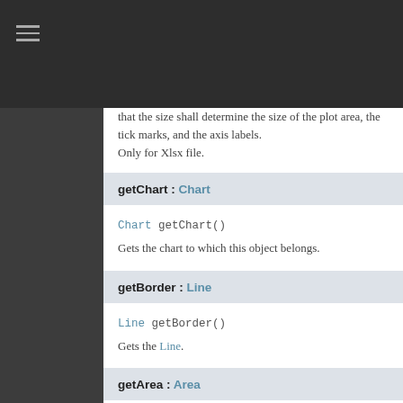that the size shall determine the size of the plot area, the tick marks, and the axis labels.
Only for Xlsx file.
getChart : Chart
Chart getChart()
Gets the chart to which this object belongs.
getBorder : Line
Line getBorder()
Gets the Line.
getArea : Area